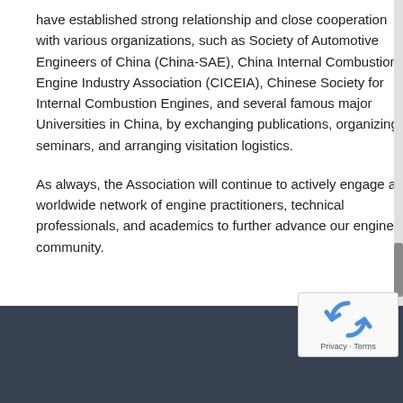have established strong relationship and close cooperation with various organizations, such as Society of Automotive Engineers of China (China-SAE), China Internal Combustion Engine Industry Association (CICEIA), Chinese Society for Internal Combustion Engines, and several famous major Universities in China, by exchanging publications, organizing seminars, and arranging visitation logistics.
As always, the Association will continue to actively engage a worldwide network of engine practitioners, technical professionals, and academics to further advance our engine community.
NAVIGATION